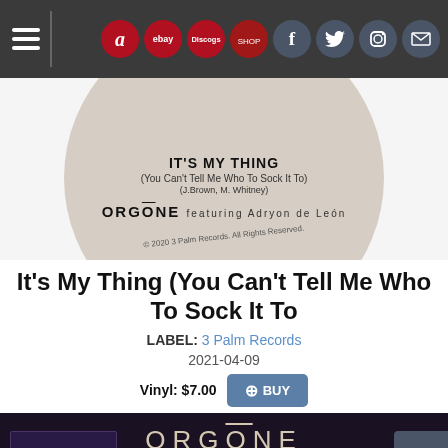Navigation bar with hamburger menu and icons: amazon, ebay, discogs, image, facebook, twitter, instagram, mail
[Figure (photo): Vinyl record label showing IT'S MY THING (You Can't Tell Me Who To Sock It To) (J.Brown, M. Whitney) by ORGONE featuring Adryon de León, © 2020 3 Palm Records, All Rights Reserved]
It's My Thing (You Can't Tell Me Who To Sock It To
LABEL: 3 Palm Records
2021-04-09
Vinyl: $7.00  + BUY
[Figure (photo): Dark background image showing ORGONE logo with 'with Adryon de León' text in script, and a small album artwork on the left side. A scroll-to-top button is visible on the right.]